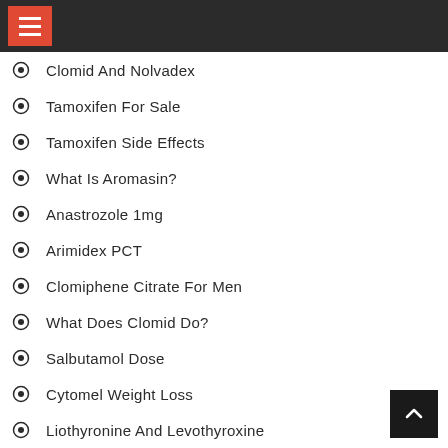Navigation menu header
Clomid And Nolvadex
Tamoxifen For Sale
Tamoxifen Side Effects
What Is Aromasin?
Anastrozole 1mg
Arimidex PCT
Clomiphene Citrate For Men
What Does Clomid Do?
Salbutamol Dose
Cytomel Weight Loss
Liothyronine And Levothyroxine
Where Can I Buy Clenbuterol?
Clenbuterol Liquid